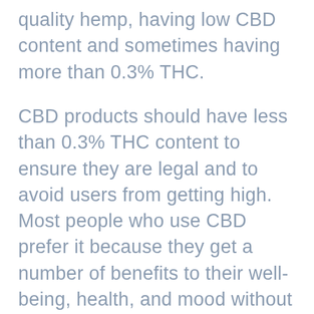quality hemp, having low CBD content and sometimes having more than 0.3% THC.
CBD products should have less than 0.3% THC content to ensure they are legal and to avoid users from getting high. Most people who use CBD prefer it because they get a number of benefits to their well-being, health, and mood without the negative side effects of getting high. You definitely don't want to purchase CBD pre-rolls that have psychoactive effects.